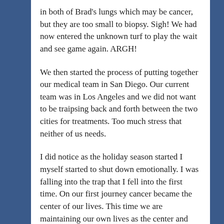in both of Brad's lungs which may be cancer, but they are too small to biopsy. Sigh! We had now entered the unknown turf to play the wait and see game again. ARGH!
We then started the process of putting together our medical team in San Diego. Our current team was in Los Angeles and we did not want to be traipsing back and forth between the two cities for treatments. Too much stress that neither of us needs.
I did notice as the holiday season started I myself started to shut down emotionally. I was falling into the trap that I fell into the first time. On our first journey cancer became the center of our lives. This time we are maintaining our own lives as the center and cancer will have to work around us. A very dear friend reminded me of a saying a mutual business coach of ours has. "Life works. My life works. People